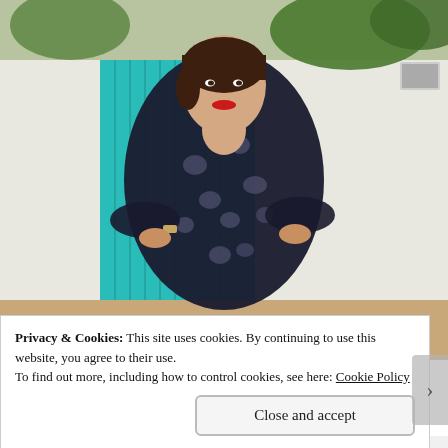[Figure (photo): A woman with short brown hair and red lipstick wearing a dark floral-patterned dress, posing with hands on hips in front of a teal gate and white wall outdoors.]
Privacy & Cookies: This site uses cookies. By continuing to use this website, you agree to their use.
To find out more, including how to control cookies, see here: Cookie Policy
Close and accept